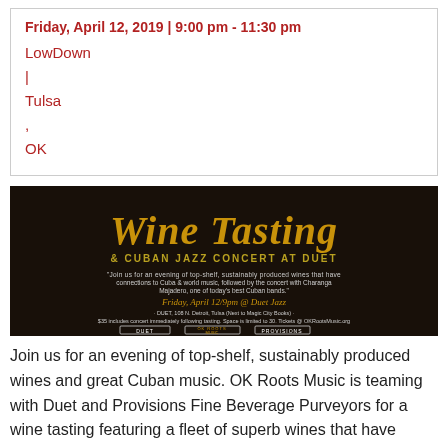Friday, April 12, 2019 | 9:00 pm - 11:30 pm
LowDown
|
Tulsa
,
OK
[Figure (photo): Promotional banner for Wine Tasting & Cuban Jazz Concert at Duet. Features golden script 'Wine Tasting' text and information about the event on Friday April 12 at 9pm at Duet Jazz, 108 N. Detroit, Tulsa. Logos for Duet, OK Roots Music, and Provisions shown at bottom.]
Join us for an evening of top-shelf, sustainably produced wines and great Cuban music. OK Roots Music is teaming with Duet and Provisions Fine Beverage Purveyors for a wine tasting featuring a fleet of superb wines that have connections to Cuba &